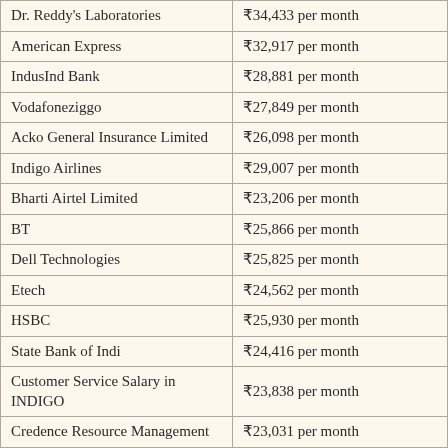| Company | Salary |
| --- | --- |
| Dr. Reddy's Laboratories | ₹34,433 per month |
| American Express | ₹32,917 per month |
| IndusInd Bank | ₹28,881 per month |
| Vodafoneziggo | ₹27,849 per month |
| Acko General Insurance Limited | ₹26,098 per month |
| Indigo Airlines | ₹29,007 per month |
| Bharti Airtel Limited | ₹23,206 per month |
| BT | ₹25,866 per month |
| Dell Technologies | ₹25,825 per month |
| Etech | ₹24,562 per month |
| HSBC | ₹25,930 per month |
| State Bank of Indi | ₹24,416 per month |
| Customer Service Salary in INDIGO | ₹23,838 per month |
| Credence Resource Management | ₹23,031 per month |
| Accenture | ₹22,906 per month |
| Samsung Electronics | ₹22,601 per month |